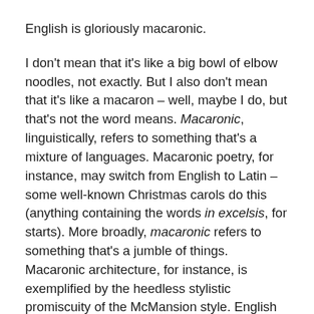English is gloriously macaronic.
I don't mean that it's like a big bowl of elbow noodles, not exactly. But I also don't mean that it's like a macaron – well, maybe I do, but that's not the word means. Macaronic, linguistically, refers to something that's a mixture of languages. Macaronic poetry, for instance, may switch from English to Latin – some well-known Christmas carols do this (anything containing the words in excelsis, for starts). More broadly, macaronic refers to something that's a jumble of things. Macaronic architecture, for instance, is exemplified by the heedless stylistic promiscuity of the McMansion style. English is macaronic: it's made up of an almost hyperreal mixture of words from different languages. And it's full of macaronic words, too.
A macaronic word is one that combines parts from multiple